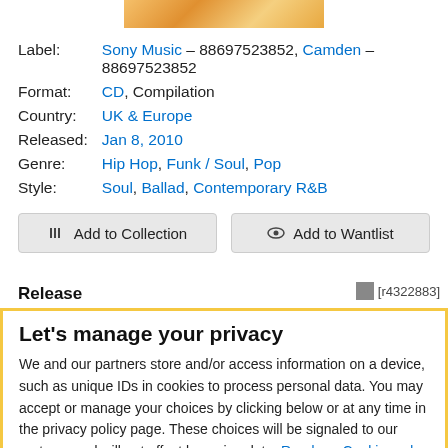[Figure (photo): Partial album cover image at top of page]
Label: Sony Music – 88697523852, Camden – 88697523852
Format: CD, Compilation
Country: UK & Europe
Released: Jan 8, 2010
Genre: Hip Hop, Funk / Soul, Pop
Style: Soul, Ballad, Contemporary R&B
Add to Collection | Add to Wantlist
Release
[r4322883]
Let's manage your privacy
We and our partners store and/or access information on a device, such as unique IDs in cookies to process personal data. You may accept or manage your choices by clicking below or at any time in the privacy policy page. These choices will be signaled to our partners and will not affect browsing data. Read our Cookie and Internet Advertising Policy